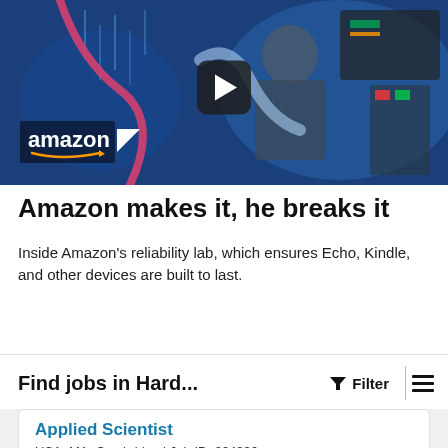[Figure (screenshot): Amazon video thumbnail showing a worker in an Amazon-branded lab environment with blue lighting and equipment. A play button is centered on the video. The Amazon logo with smile arrow is visible in the lower-left corner.]
Amazon makes it, he breaks it
Inside Amazon's reliability lab, which ensures Echo, Kindle, and other devices are built to last.
Find jobs in Hard...
Filter
Applied Scientist
USA, MA, Cambridge | Job ID: 894336